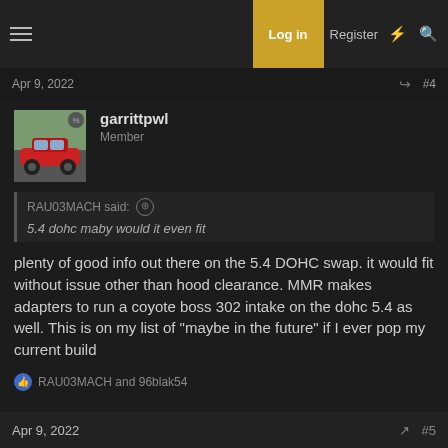Log in | Register
Apr 9, 2022  #4
garrittpwl
Member
RAU03MACH said: ⊕
5.4 dohc maby would it even fit
plenty of good info out there on the 5.4 DOHC swap. it would fit without issue other than hood clearance. MMR makes adapters to run a coyote boss 302 intake on the dohc 5.4 as well. This is on my list of "maybe in the future" if I ever pop my current build
RAU03MACH and 96blak54
Apr 9, 2022  #5